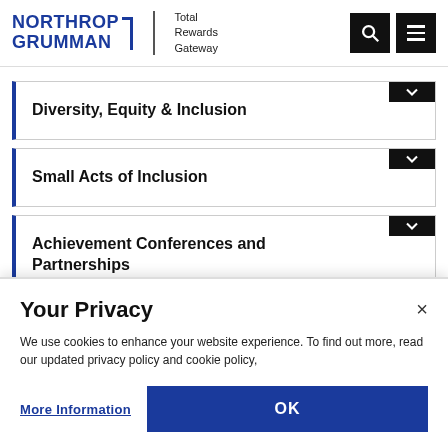NORTHROP GRUMMAN | Total Rewards Gateway
Diversity, Equity & Inclusion
Small Acts of Inclusion
Achievement Conferences and Partnerships
Your Privacy
We use cookies to enhance your website experience. To find out more, read our updated privacy policy and cookie policy,
More Information
OK